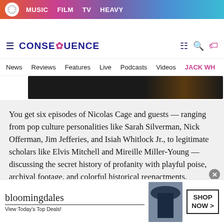MUSIC  FILM  TV  HEAVY
[Figure (logo): Consequence of Sound website logo with navigation icons]
News  Reviews  Features  Live  Podcasts  Videos  JACK WH...
[Figure (photo): Dark banner image, partially visible]
You get six episodes of Nicolas Cage and guests — ranging from pop culture personalities like Sarah Silverman, Nick Offerman, Jim Jefferies, and Isiah Whitlock Jr., to legitimate scholars like Elvis Mitchell and Mireille Miller-Young — discussing the secret history of profanity with playful poise, archival footage, and colorful historical reenactments.
[Figure (photo): Bloomingdale's advertisement banner: View Today's Top Deals! SHOP NOW >]